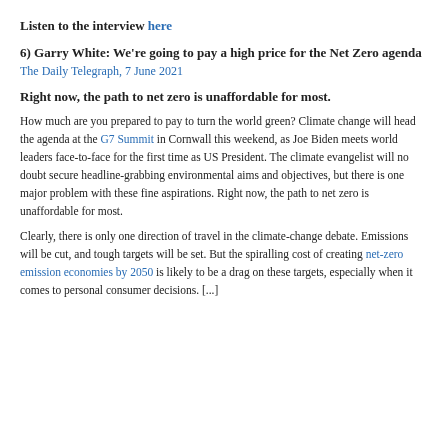Listen to the interview here
6) Garry White: We're going to pay a high price for the Net Zero agenda
The Daily Telegraph, 7 June 2021
Right now, the path to net zero is unaffordable for most.
How much are you prepared to pay to turn the world green? Climate change will head the agenda at the G7 Summit in Cornwall this weekend, as Joe Biden meets world leaders face-to-face for the first time as US President. The climate evangelist will no doubt secure headline-grabbing environmental aims and objectives, but there is one major problem with these fine aspirations. Right now, the path to net zero is unaffordable for most.
Clearly, there is only one direction of travel in the climate-change debate. Emissions will be cut, and tough targets will be set. But the spiralling cost of creating net-zero emission economies by 2050 is likely to be a drag on these targets, especially when it comes to personal consumer decisions. [...]